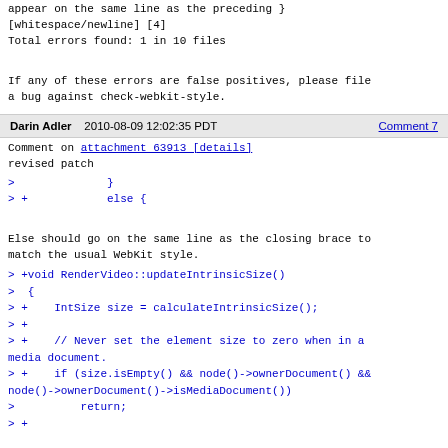appear on the same line as the preceding }
[whitespace/newline] [4]
Total errors found: 1 in 10 files
If any of these errors are false positives, please file a bug against check-webkit-style.
Darin Adler   2010-08-09 12:02:35 PDT                    Comment 7
Comment on attachment 63913 [details]
revised patch
>              }
> +            else {
Else should go on the same line as the closing brace to match the usual WebKit style.
> +void RenderVideo::updateIntrinsicSize()
>  {
> +    IntSize size = calculateIntrinsicSize();
> +
> +    // Never set the element size to zero when in a media document.
> +    if (size.isEmpty() && node()->ownerDocument() && node()->ownerDocument()->isMediaDocument())
>          return;
> +